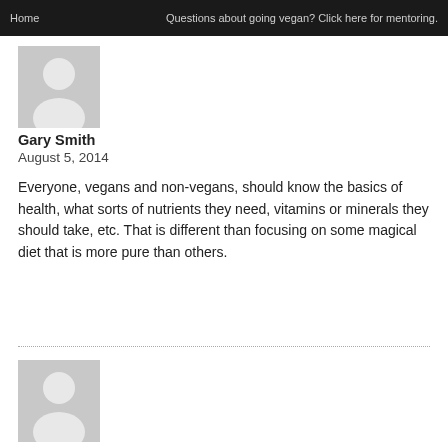Home    Questions about going vegan? Click here for mentoring.
[Figure (illustration): Gray placeholder avatar silhouette icon for user Gary Smith]
Gary Smith
August 5, 2014
Everyone, vegans and non-vegans, should know the basics of health, what sorts of nutrients they need, vitamins or minerals they should take, etc. That is different than focusing on some magical diet that is more pure than others.
[Figure (illustration): Gray placeholder avatar silhouette icon for second commenter]